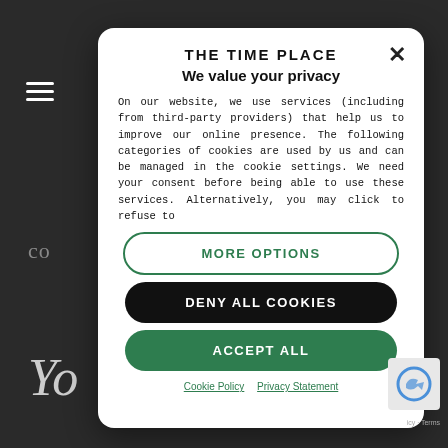THE TIME PLACE
We value your privacy
On our website, we use services (including from third-party providers) that help us to improve our online presence. The following categories of cookies are used by us and can be managed in the cookie settings. We need your consent before being able to use these services. Alternatively, you may click to refuse to
MORE OPTIONS
DENY ALL COOKIES
ACCEPT ALL
Cookie Policy   Privacy Statement